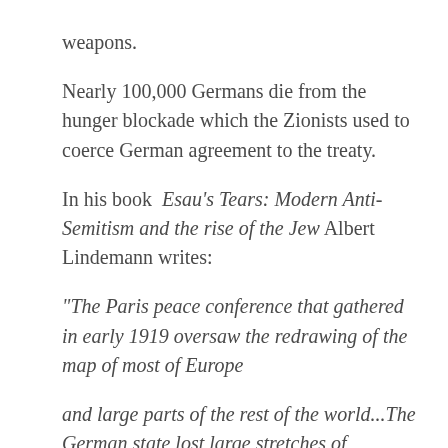weapons.
Nearly 100,000 Germans die from the hunger blockade which the Zionists used to coerce German agreement to the treaty.
In his book Esau's Tears: Modern Anti-Semitism and the rise of the Jew Albert Lindemann writes:
“The Paris peace conference that gathered in early 1919 oversaw the redrawing of the map of most of Europe and large parts of the rest of the world...The German state lost large stretches of Prussian land to Poland establishing an awkward intrusion- the Polish corridor to the sea...The Germans were hardly the only people to feel cheated by the peace